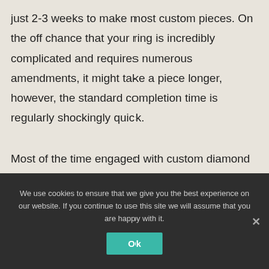just 2-3 weeks to make most custom pieces. On the off chance that your ring is incredibly complicated and requires numerous amendments, it might take a piece longer, however, the standard completion time is regularly shockingly quick.

Most of the time engaged with custom diamond rings creation is a computerized plan. When the plan is endorsed, the wax can be printed in no less than one day and making the ring should be possible in just two to three
We use cookies to ensure that we give you the best experience on our website. If you continue to use this site we will assume that you are happy with it.